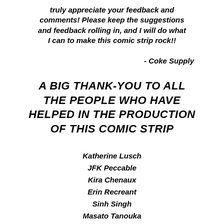truly appreciate your feedback and comments! Please keep the suggestions and feedback rolling in, and I will do what I can to make this comic strip rock!!
- Coke Supply
A BIG THANK-YOU TO ALL THE PEOPLE WHO HAVE HELPED IN THE PRODUCTION OF THIS COMIC STRIP
Katherine Lusch
JFK Peccable
Kira Chenaux
Erin Recreant
Sinh Singh
Masato Tanouka